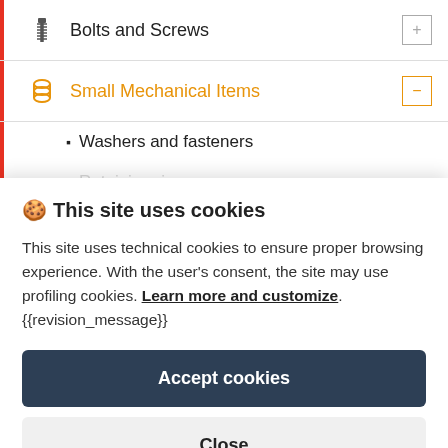Bolts and Screws
Small Mechanical Items
Washers and fasteners
Retaining rings (partial, obscured)
🍪 This site uses cookies
This site uses technical cookies to ensure proper browsing experience. With the user's consent, the site may use profiling cookies. Learn more and customize. {{revision_message}}
Accept cookies
Close